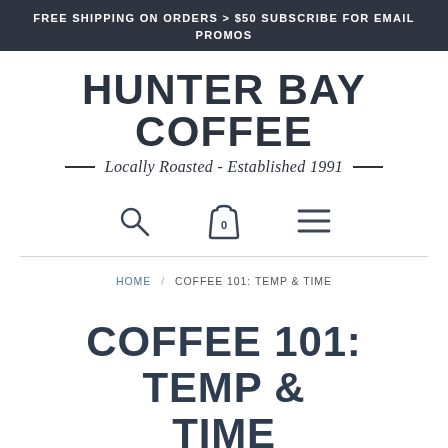FREE SHIPPING ON ORDERS > $50 SUBSCRIBE FOR EMAIL PROMOS
HUNTER BAY COFFEE — Locally Roasted - Established 1991 —
[Figure (infographic): Navigation icons: search (magnifying glass), shopping bag with 0, hamburger menu]
HOME / COFFEE 101: TEMP & TIME
COFFEE 101: TEMP & TIME